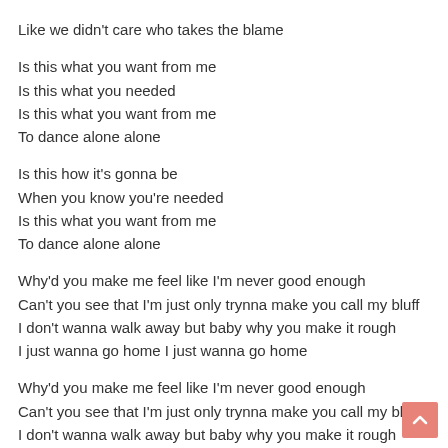Like we didn't care who takes the blame
Is this what you want from me
Is this what you needed
Is this what you want from me
To dance alone alone
Is this how it's gonna be
When you know you're needed
Is this what you want from me
To dance alone alone
Why'd you make me feel like I'm never good enough
Can't you see that I'm just only trynna make you call my bluff
I don't wanna walk away but baby why you make it rough
I just wanna go home I just wanna go home
Why'd you make me feel like I'm never good enough
Can't you see that I'm just only trynna make you call my bluff
I don't wanna walk away but baby why you make it rough
I just wanna go home I just wanna go home